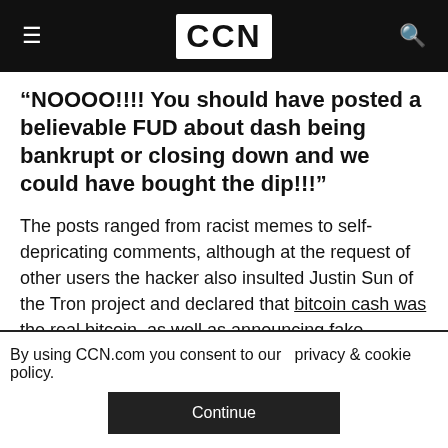CCN
“NOOOO!!!! You should have posted a believable FUD about dash being bankrupt or closing down and we could have bought the dip!!!”
The posts ranged from racist memes to self-depricating comments, although at the request of other users the hacker also insulted Justin Sun of the Tron project and declared that bitcoin cash was the real bitcoin, as well as announcing fake
By using CCN.com you consent to our  privacy & cookie policy.
Continue